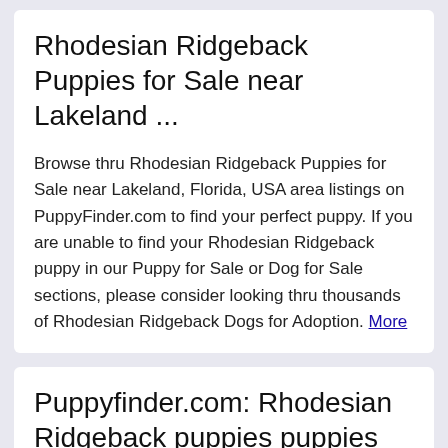Rhodesian Ridgeback Puppies for Sale near Lakeland ...
Browse thru Rhodesian Ridgeback Puppies for Sale near Lakeland, Florida, USA area listings on PuppyFinder.com to find your perfect puppy. If you are unable to find your Rhodesian Ridgeback puppy in our Puppy for Sale or Dog for Sale sections, please consider looking thru thousands of Rhodesian Ridgeback Dogs for Adoption. More
Puppyfinder.com: Rhodesian Ridgeback puppies puppies